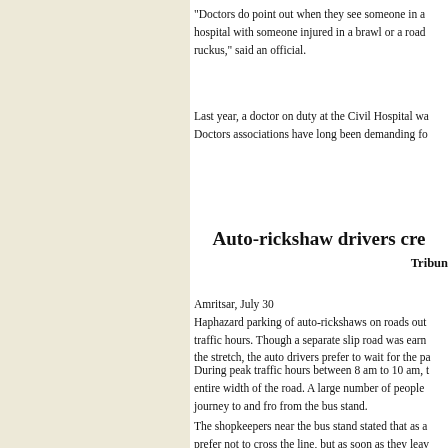“Doctors do point out when they see someone in a hospital with someone injured in a brawl or a road ruckus,” said an official.
Last year, a doctor on duty at the Civil Hospital wa... Doctors associations have long been demanding fo...
Auto-rickshaw drivers cre...
Tribun...
Amritsar, July 30
Haphazard parking of auto-rickshaws on roads out... traffic hours. Though a separate slip road was earm... the stretch, the auto drivers prefer to wait for the pa...
During peak traffic hours between 8 am to 10 am, t... entire width of the road. A large number of people journey to and fro from the bus stand.
The shopkeepers near the bus stand stated that as a... prefer not to cross the line, but as soon as they leav...
Residents opined that the administration should ear... drivers should not be allowed to violate the norms... outwit each other by stationing their auto-rickshaw... behind here to wait for the auto-rickshaw to mo...